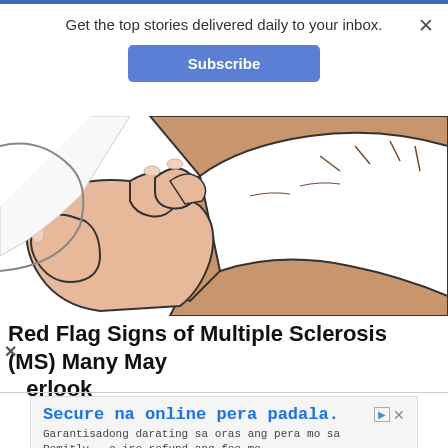Get the top stories delivered daily to your inbox.
Subscribe
[Figure (illustration): Illustration of two hands — a baby's small hand grasping an adult's fingers, in a comic/cartoon style with skin-tone colors and black outlines.]
Red Flag Signs of Multiple Sclerosis (MS) Many May Overlook
Secure na online pera padala.
Garantisadong darating sa oras ang pera mo sa Remitly – o ire-refund ang fee mo.
Remitly
Visit Site